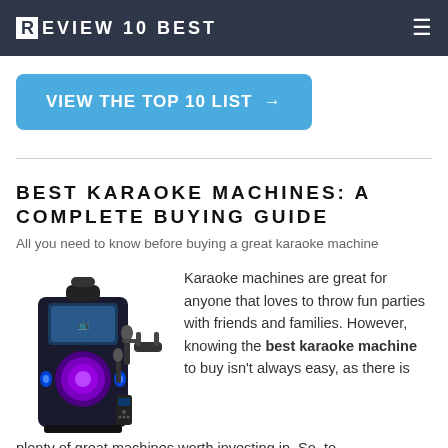REVIEW 10 BEST
VIEW THE TOP 10 LIST →
BEST KARAOKE MACHINES: A COMPLETE BUYING GUIDE
All you need to know before buying a great karaoke machine
[Figure (photo): A karaoke machine speaker with microphones and remote control, glowing purple/blue lights]
Karaoke machines are great for anyone that loves to throw fun parties with friends and families. However, knowing the best karaoke machine to buy isn't always easy, as there is plenty of great machines worth investing in. So, to